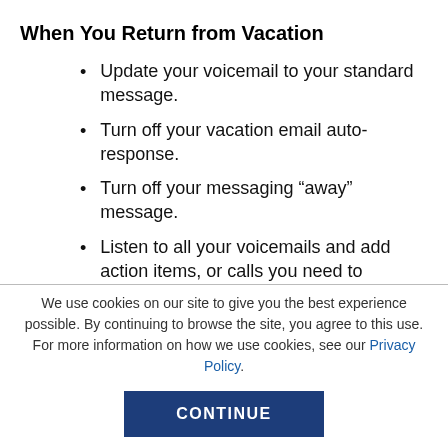When You Return from Vacation
Update your voicemail to your standard message.
Turn off your vacation email auto-response.
Turn off your messaging “away” message.
Listen to all your voicemails and add action items, or calls you need to
We use cookies on our site to give you the best experience possible. By continuing to browse the site, you agree to this use. For more information on how we use cookies, see our Privacy Policy.
CONTINUE